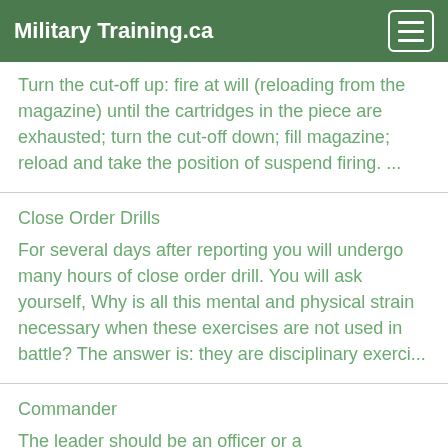Military Training.ca
Turn the cut-off up: fire at will (reloading from the magazine) until the cartridges in the piece are exhausted; turn the cut-off down; fill magazine; reload and take the position of suspend firing. ...
Close Order Drills
For several days after reporting you will undergo many hours of close order drill. You will ask yourself, Why is all this mental and physical strain necessary when these exercises are not used in battle? The answer is: they are disciplinary exerci...
Commander
The leader should be an officer or a noncommissioned officer. He must have good judgment, be cool, be quick in making a decision, be strong in physique, have initiative, and be brave, but not to the extent of rashness. Besides his regular equipmen...